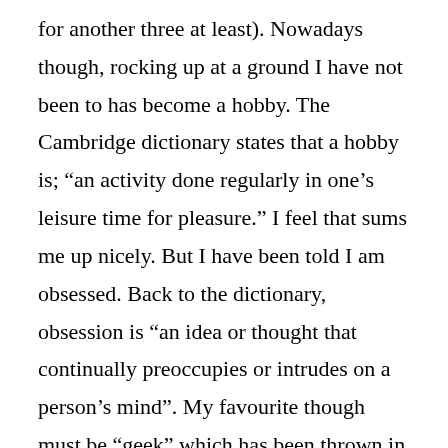for another three at least). Nowadays though, rocking up at a ground I have not been to has become a hobby. The Cambridge dictionary states that a hobby is; “an activity done regularly in one’s leisure time for pleasure.” I feel that sums me up nicely. But I have been told I am obsessed. Back to the dictionary, obsession is “an idea or thought that continually preoccupies or intrudes on a person’s mind”. My favourite though must be “geek” which has been thrown in my direction